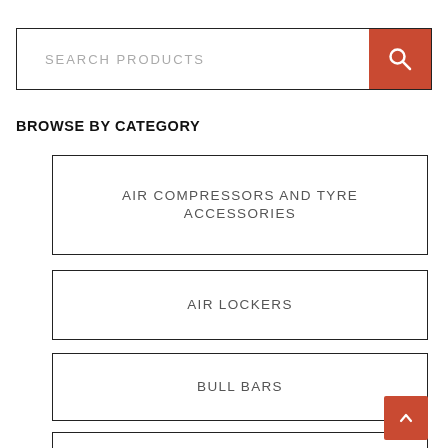SEARCH PRODUCTS
BROWSE BY CATEGORY
AIR COMPRESSORS AND TYRE ACCESSORIES
AIR LOCKERS
BULL BARS
CANOPIES & ACCESSORIES